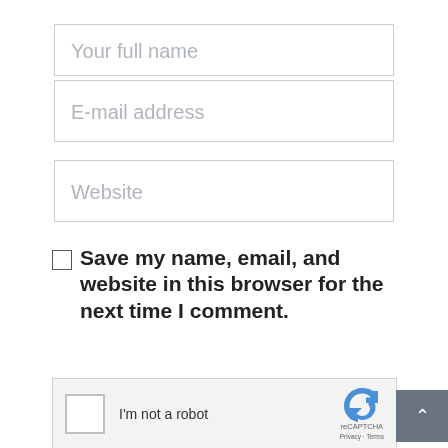Your full name
E-mail address
Website
Save my name, email, and website in this browser for the next time I comment.
[Figure (other): reCAPTCHA widget with checkbox labeled I'm not a robot and reCAPTCHA logo with Privacy and Terms links]
SUBMIT